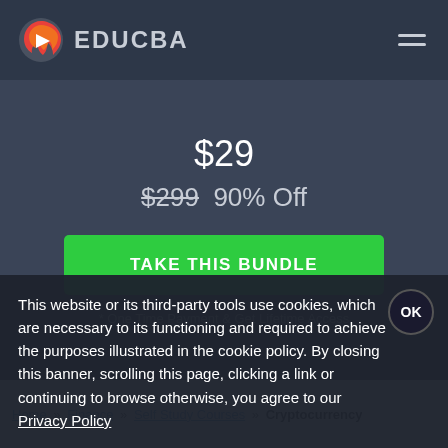EDUCBA
$29
$299  90% Off
TAKE THIS BUNDLE
* One Time Payment & Get Lifetime Access
Home » Finance » Self Study Courses » Cryptocurrency
This website or its third-party tools use cookies, which are necessary to its functioning and required to achieve the purposes illustrated in the cookie policy. By closing this banner, scrolling this page, clicking a link or continuing to browse otherwise, you agree to our Privacy Policy